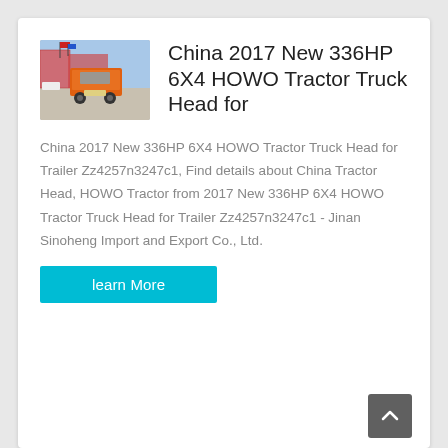[Figure (photo): Photo of an orange HOWO tractor truck head viewed from the rear, parked in a lot with blue sky and industrial buildings in the background.]
China 2017 New 336HP 6X4 HOWO Tractor Truck Head for
China 2017 New 336HP 6X4 HOWO Tractor Truck Head for Trailer Zz4257n3247c1, Find details about China Tractor Head, HOWO Tractor from 2017 New 336HP 6X4 HOWO Tractor Truck Head for Trailer Zz4257n3247c1 - Jinan Sinoheng Import and Export Co., Ltd.
learn More